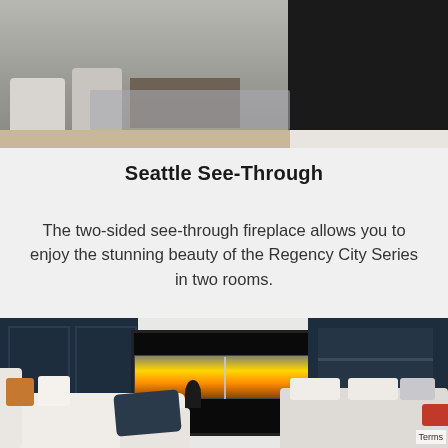[Figure (photo): Interior living room scene with modern fireplace, grey sofas, coffee table, and dark marble surround]
Seattle See-Through
The two-sided see-through fireplace allows you to enjoy the stunning beauty of the Regency City Series in two rooms.
[Figure (photo): Two-room see-through fireplace installation showing living room on left with white sofa and bedroom on right with bed, navy blue wall panels, white surround with TV mounted above, flames visible through glass]